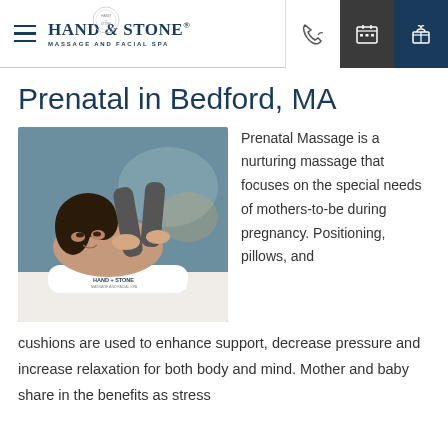Hand & Stone Massage and Facial Spa — navigation header with phone, calendar, gift icons
Prenatal in Bedford, MA
[Figure (photo): A woman receiving a prenatal massage, lying face-down on a massage table with a Hand & Stone pillow, therapist's hands on her back]
Prenatal Massage is a nurturing massage that focuses on the special needs of mothers-to-be during pregnancy. Positioning, pillows, and cushions are used to enhance support, decrease pressure and increase relaxation for both body and mind. Mother and baby share in the benefits as stress